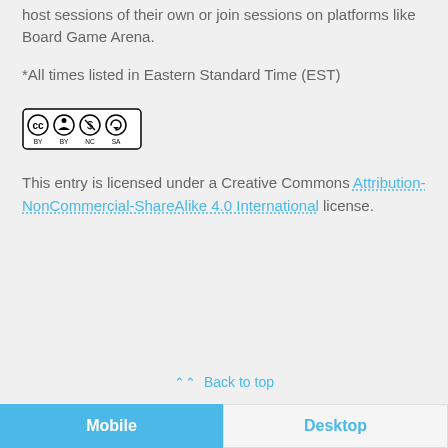host sessions of their own or join sessions on platforms like Board Game Arena.
*All times listed in Eastern Standard Time (EST)
[Figure (logo): Creative Commons BY NC SA license badge showing CC, BY, NC, and SA icons in a row with text labels below]
This entry is licensed under a Creative Commons Attribution-NonCommercial-ShareAlike 4.0 International license.
Back to top
Mobile | Desktop